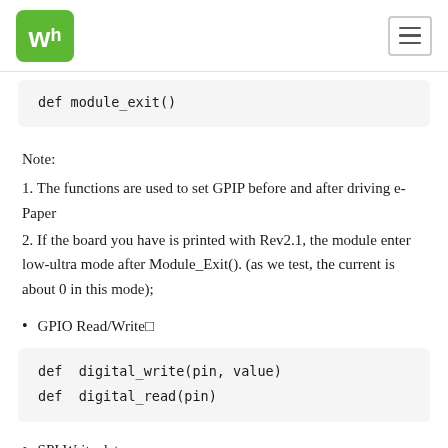Waveshare logo and navigation
def module_exit()
Note:
1. The functions are used to set GPIP before and after driving e-Paper
2. If the board you have is printed with Rev2.1, the module enter low-ultra mode after Module_Exit(). (as we test, the current is about 0 in this mode);
GPIO Read/Write□
def  digital_write(pin, value)
def  digital_read(pin)
SPI Write data: